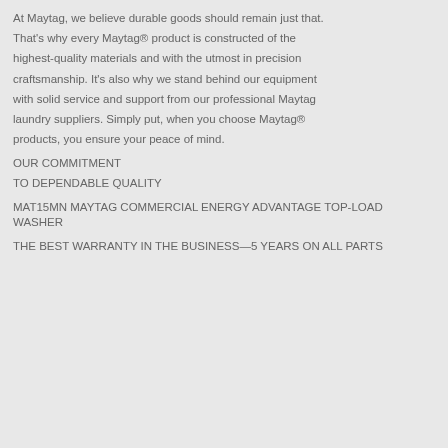At Maytag, we believe durable goods should remain just that.

That's why every Maytag® product is constructed of the highest-quality materials and with the utmost in precision craftsmanship. It's also why we stand behind our equipment with solid service and support from our professional Maytag laundry suppliers. Simply put, when you choose Maytag® products, you ensure your peace of mind.
OUR COMMITMENT

TO DEPENDABLE QUALITY
MAT15MN MAYTAG COMMERCIAL ENERGY ADVANTAGE TOP-LOAD WASHER
THE BEST WARRANTY IN THE BUSINESS—5 YEARS ON ALL PARTS